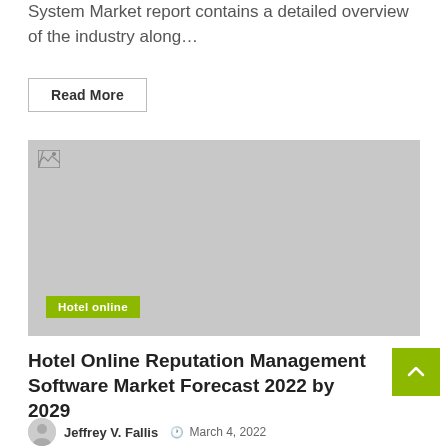System Market report contains a detailed overview of the industry along…
Read More
[Figure (photo): Placeholder image with broken image icon and 'Hotel online' badge overlay]
Hotel Online Reputation Management Software Market Forecast 2022 by 2029
Jeffrey V. Fallis  March 4, 2022